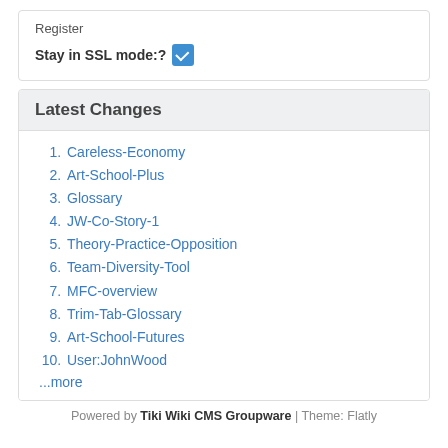Register
Stay in SSL mode:? ☑
Latest Changes
1. Careless-Economy
2. Art-School-Plus
3. Glossary
4. JW-Co-Story-1
5. Theory-Practice-Opposition
6. Team-Diversity-Tool
7. MFC-overview
8. Trim-Tab-Glossary
9. Art-School-Futures
10. User:JohnWood
...more
Powered by Tiki Wiki CMS Groupware | Theme: Flatly